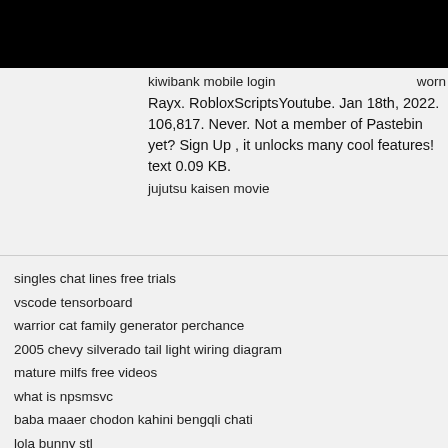kiwibank mobile login
Rayx. RobloxScriptsYoutube. Jan 18th, 2022. 106,817. Never. Not a member of Pastebin yet? Sign Up , it unlocks many cool features! text 0.09 KB.
jujutsu kaisen movie
singles chat lines free trials
vscode tensorboard
warrior cat family generator perchance
2005 chevy silverado tail light wiring diagram
mature milfs free videos
what is npsmsvc
baba maaer chodon kahini bengqli chati
lola bunny stl
channel 11 news anchors dallas
schebler carburetor parts